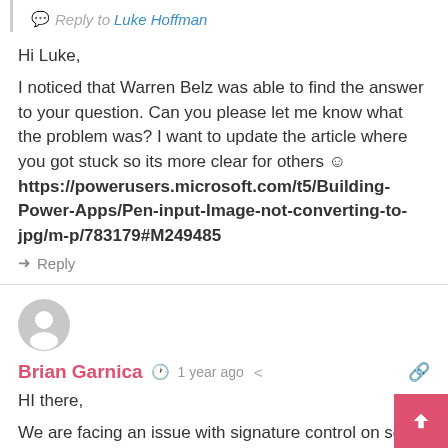Reply to Luke Hoffman
Hi Luke,
I noticed that Warren Belz was able to find the answer to your question. Can you please let me know what the problem was? I want to update the article where you got stuck so its more clear for others 🙂 https://powerusers.microsoft.com/t5/Building-Power-Apps/Pen-input-Image-not-converting-to-jpg/m-p/783179#M249485
Reply
Brian Garnica · 1 year ago
HI there,
We are facing an issue with signature control on some devices like tablets or phones. Sometimes, matter what I draw, it saves only a portion (like a